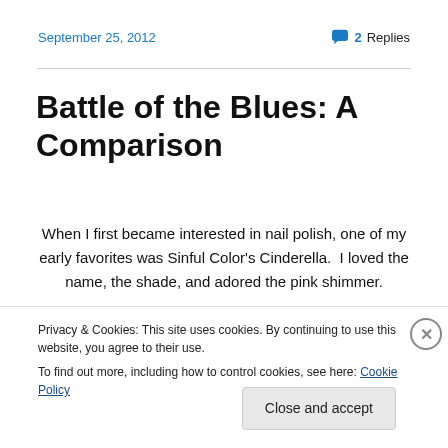September 25, 2012
2 Replies
Battle of the Blues: A Comparison
When I first became interested in nail polish, one of my early favorites was Sinful Color's Cinderella.  I loved the name, the shade, and adored the pink shimmer.
Privacy & Cookies: This site uses cookies. By continuing to use this website, you agree to their use.
To find out more, including how to control cookies, see here: Cookie Policy